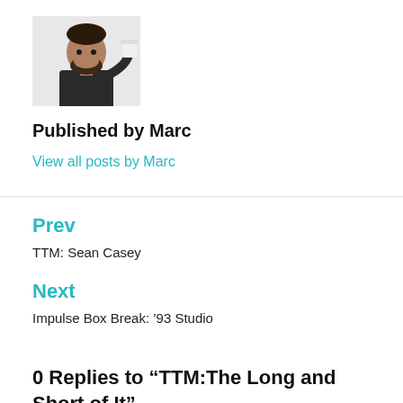[Figure (photo): Black and white photo of a bearded man holding a cup]
Published by Marc
View all posts by Marc
Prev
TTM: Sean Casey
Next
Impulse Box Break: ’93 Studio
0 Replies to “TTM:The Long and Short of It”